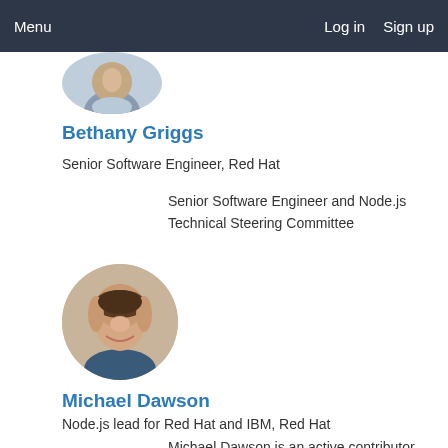Menu  Log in  Sign up
[Figure (photo): Partial circular avatar photo of Bethany Griggs, cropped at top of page]
Bethany Griggs
Senior Software Engineer, Red Hat
Senior Software Engineer and Node.js Technical Steering Committee
[Figure (photo): Circular avatar photo of Michael Dawson, a man with short brown hair, smiling]
Michael Dawson
Node.js lead for Red Hat and IBM, Red Hat
Michael Dawson is an active contributor to the Node.js project and